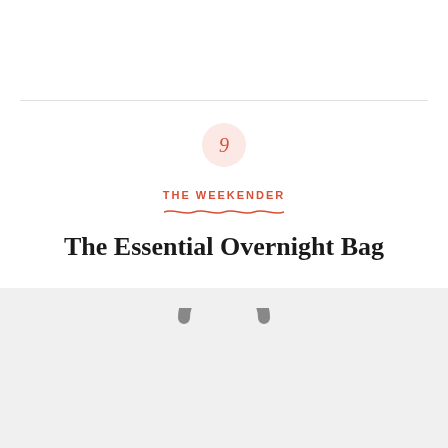[Figure (illustration): Number 9 in a coral/pink circle badge]
THE WEEKENDER
The Essential Overnight Bag
[Figure (photo): Gray overnight/weekender bag handles visible against a light gray background panel]